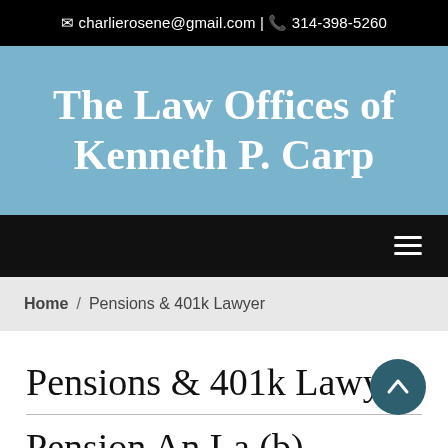charlierosene@gmail.com | 314-398-5260
The Law Offices of Kenneth P. Carp
Home / Pensions & 401k Lawyer
Pensions & 401k Lawyer
Pension An La (b)